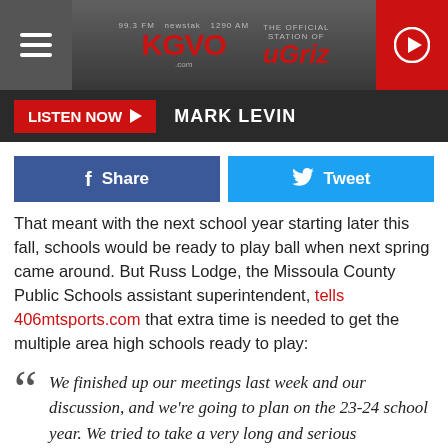KGVO Radio — The Official Station of the Griz — Listen Now: Mark Levin
That meant with the next school year starting later this fall, schools would be ready to play ball when next spring came around. But Russ Lodge, the Missoula County Public Schools assistant superintendent, tells 406mtsports.com that extra time is needed to get the multiple area high schools ready to play:
We finished up our meetings last week and our discussion, and we're going to plan on the 23-24 school year. We tried to take a very long and serious